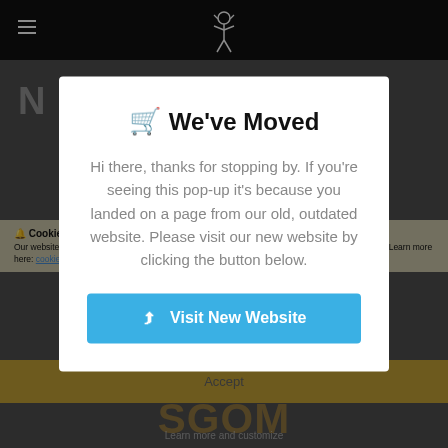[Figure (screenshot): Dark website background with header logo and blurred page content]
🛒 We've Moved
Hi there, thanks for stopping by. If you're seeing this pop-up it's because you landed on a page from our old, outdated website. Please visit our new website by clicking the button below.
Visit New Website
Cookie Disclaimer
Our website, as well as third-party tools we utilize, use cookies to enhance your overall experience. Learn more here: cookie policy. By continuing to use our website, you agree to our use of cookies.
Accept